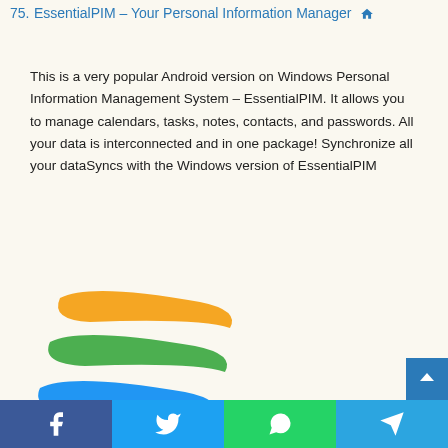75. EssentialPIM – Your Personal Information Manager  [home icon]
This is a very popular Android version on Windows Personal Information Management System – EssentialPIM. It allows you to manage calendars, tasks, notes, contacts, and passwords. All your data is interconnected and in one package! Synchronize all your dataSyncs with the Windows version of EssentialPIM
[Figure (logo): EssentialPIM logo consisting of three curved swoosh stripes stacked: orange on top, green in middle, blue on bottom]
Social share bar: Facebook, Twitter, WhatsApp, Telegram